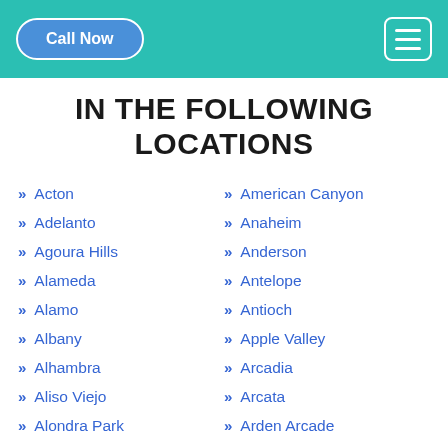Call Now | Menu
IN THE FOLLOWING LOCATIONS
Acton
Adelanto
Agoura Hills
Alameda
Alamo
Albany
Alhambra
Aliso Viejo
Alondra Park
Alpine
American Canyon
Anaheim
Anderson
Antelope
Antioch
Apple Valley
Arcadia
Arcata
Arden Arcade
Arroyo Grande